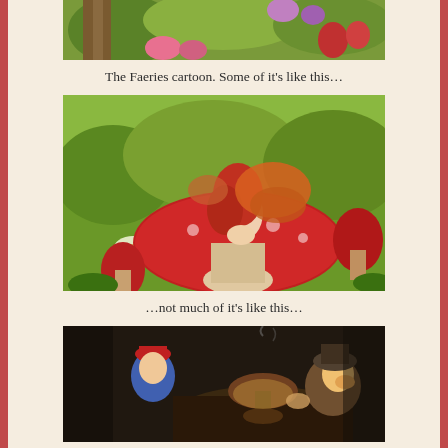[Figure (illustration): Top portion of a colorful cartoon scene with flowers and foliage, partially cropped at the top]
The Faeries cartoon. Some of it's like this…
[Figure (illustration): A red-haired fairy with orange wings sitting on a red mushroom in a colorful garden scene]
…not much of it's like this…
[Figure (illustration): A darker scene showing a young boy in red hat and blue shirt talking to an older character at a table, darker lighting]